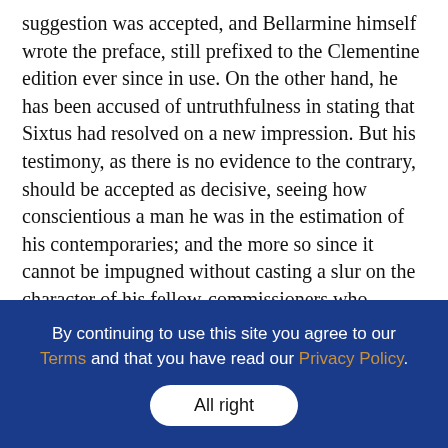suggestion was accepted, and Bellarmine himself wrote the preface, still prefixed to the Clementine edition ever since in use. On the other hand, he has been accused of untruthfulness in stating that Sixtus had resolved on a new impression. But his testimony, as there is no evidence to the contrary, should be accepted as decisive, seeing how conscientious a man he was in the estimation of his contemporaries; and the more so since it cannot be impugned without casting a slur on the character of his fellow-commissioners who accepted his suggestion, and of Clement VIII who with full knowledge of the facts gave his sanction to Bellarmine's preface being prefixed to the new edition. Besides, Angelo Rocca, the Secretary
By continuing to use this site you agree to our Terms and that you have read our Privacy Policy.
All right